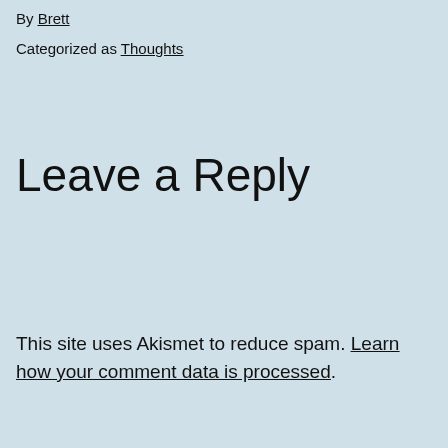By Brett
Categorized as Thoughts
Leave a Reply
This site uses Akismet to reduce spam. Learn how your comment data is processed.